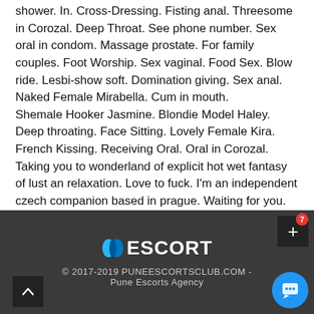shower. In. Cross-Dressing. Fisting anal. Threesome in Corozal. Deep Throat. See phone number. Sex oral in condom. Massage prostate. For family couples. Foot Worship. Sex vaginal. Food Sex. Blow ride. Lesbi-show soft. Domination giving. Sex anal. Naked Female Mirabella. Cum in mouth.
Shemale Hooker Jasmine. Blondie Model Haley. Deep throating. Face Sitting. Lovely Female Kira. French Kissing. Receiving Oral. Oral in Corozal. Taking you to wonderland of explicit hot wet fantasy of lust an relaxation. Love to fuck. I'm an independent czech companion based in prague. Waiting for you.
[Figure (other): Adult Guide in Corozal image placeholder with broken image icon and alt text]
© 2017-2019 PUNEESCORTSCLUB.COM - Pune Escorts Agency